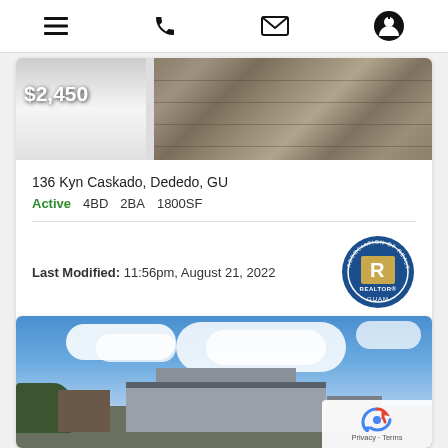Navigation bar with menu, phone, email, and profile icons
[Figure (photo): Property photo showing white door on left and stone wall texture on right with price overlay $2,450]
136 Kyn Caskado, Dededo, GU
Active   4BD   2BA   1800SF
Last Modified: 11:56pm, August 21, 2022
[Figure (logo): Association of Realtors REALTOR GUAM circular badge/seal]
[Figure (photo): Second property listing photo showing modern building exterior against blue sky with clouds]